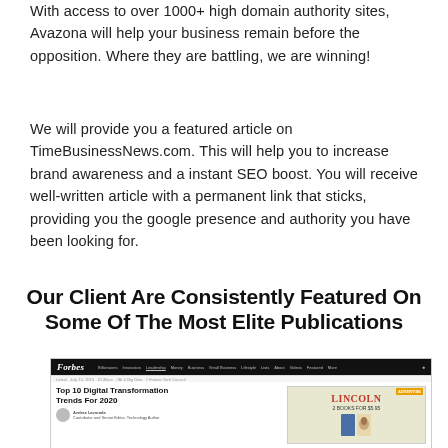With access to over 1000+ high domain authority sites, Avazona will help your business remain before the opposition. Where they are battling, we are winning!
We will provide you a featured article on TimeBusinessNews.com. This will help you to increase brand awareness and a instant SEO boost. You will receive well-written article with a permanent link that sticks, providing you the google presence and authority you have been looking for.
Our Client Are Consistently Featured On Some Of The Most Elite Publications
[Figure (screenshot): Screenshot of Forbes website showing an article titled 'Top 10 Digital Transformation Trends For 2020' with an advertisement for Lincoln 2 Books for $5.95]